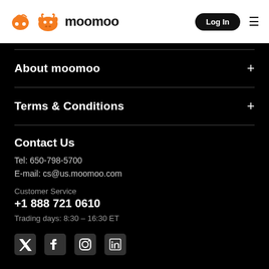moomoo — Log In
About moomoo
Terms & Conditions
Contact Us
Tel: 650-798-5700
E-mail: cs@us.moomoo.com
Customer Service
+1 888 721 0610
Trading days: 8:30 – 16:30 ET
[Figure (logo): Social media icons: Twitter, Facebook, Instagram, LinkedIn]